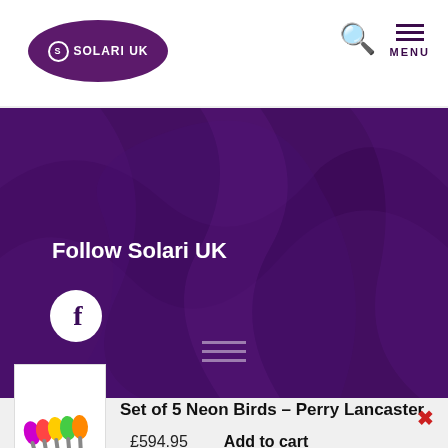[Figure (logo): Solari UK logo — white text in purple oval with encircled S]
[Figure (photo): Purple silk fabric background with draped folds]
Follow Solari UK
[Figure (illustration): White circle with Facebook 'f' icon]
[Figure (photo): Product image: Set of 5 Neon Birds figurines in rainbow colors]
Set of 5 Neon Birds – Perry Lancaster
£594.95
Add to cart